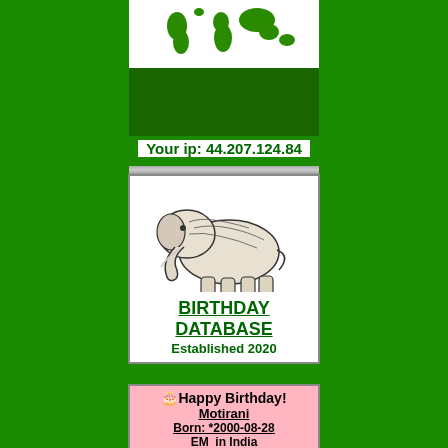[Figure (illustration): Green world map on white background]
[Figure (illustration): Dark green rectangle box below map]
Your ip: 44.207.124.84
[Figure (illustration): Black and white sketch of an elephant]
BIRTHDAY DATABASE
Established 2020
🎂Happy Birthday!
Motirani
Born: *2000-08-28
EM  in India
🎂Happy Birthday!
Qinisa
Born: *2012-08-28
LA  in United States
Birthday-ticker on your